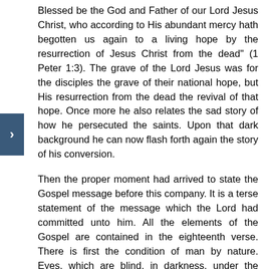Blessed be the God and Father of our Lord Jesus Christ, who according to His abundant mercy hath begotten us again to a living hope by the resurrection of Jesus Christ from the dead" (1 Peter 1:3). The grave of the Lord Jesus was for the disciples the grave of their national hope, but His resurrection from the dead the revival of that hope. Once more he also relates the sad story of how he persecuted the saints. Upon that dark background he can now flash forth again the story of his conversion.
Then the proper moment had arrived to state the Gospel message before this company. It is a terse statement of the message which the Lord had committed unto him. All the elements of the Gospel are contained in the eighteenth verse. There is first the condition of man by nature. Eyes, which are blind, in darkness, under the power of Satan. The eyes are to be opened and through the Gospel man is turned from darkness to light, from the power of Satan unto God. In Colossians 1:12 the same is stated. Then the blessings of conversion. Forgiveness of sins and an inheritance. Faith is the